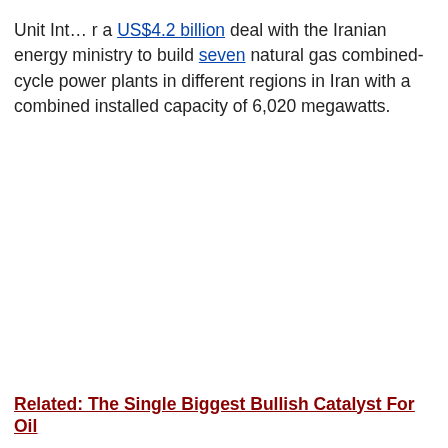Unit Int… a US$4.2 billion deal with the Iranian energy ministry to build seven natural gas combined-cycle power plants in different regions in Iran with a combined installed capacity of 6,020 megawatts.
Related: The Single Biggest Bullish Catalyst For Oil